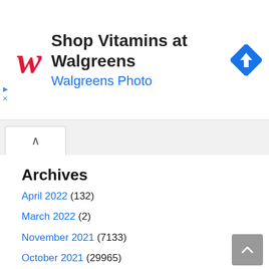[Figure (screenshot): Walgreens advertisement banner with red cursive W logo, text 'Shop Vitamins at Walgreens' and 'Walgreens Photo' in blue, and a blue navigation diamond icon on the right.]
Archives
April 2022 (132)
March 2022 (2)
November 2021 (7133)
October 2021 (29965)
September 2021 (35094)
August 2021 (36684)
July 2021 (23802)